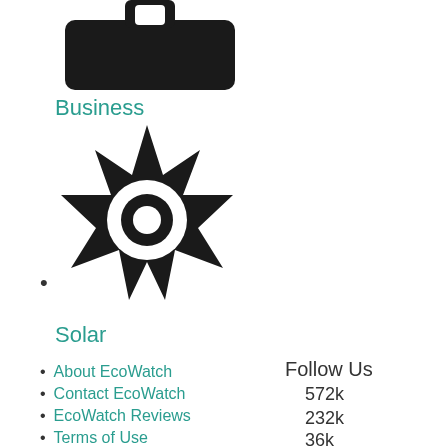[Figure (illustration): Black briefcase/business icon (rectangular bag shape with handle notch at top)]
Business
[Figure (illustration): Black sun/solar icon with 8 pointed star shape and white circle ring in center]
Solar
About EcoWatch
Contact EcoWatch
EcoWatch Reviews
Terms of Use
Privacy Policy
Learn About Solar Energy
Follow Us
572k
232k
36k
Subscribe